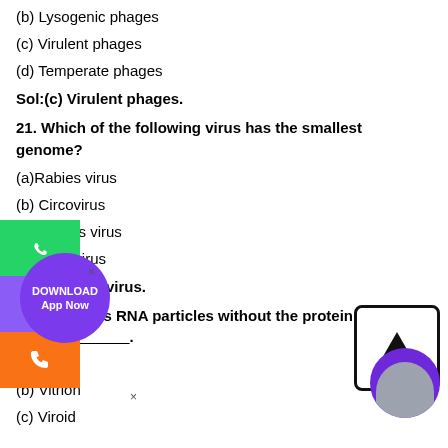(b) Lysogenic phages
(c) Virulent phages
(d) Temperate phages
Sol:(c) Virulent phages.
21. Which of the following virus has the smallest genome?
(a)Rabies virus
(b) Circovirus
(c) Herpes virus
(d) Mimi virus
Sol:(b) Circovirus.
22. Infectious RNA particles without the protein coat are called ________.
(a) Prion
(b) Vitrion
(c) Viroid